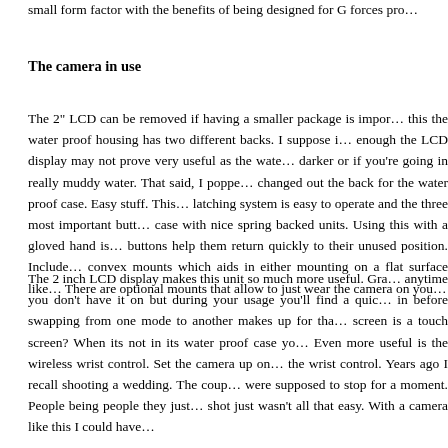small form factor with the benefits of being designed for G forces pro…
The camera in use
The 2" LCD can be removed if having a smaller package is impor… this the water proof housing has two different backs. I suppose i… enough the LCD display may not prove very useful as the wate… darker or if you're going in really muddy water. That said, I poppe… changed out the back for the water proof case. Easy stuff. This… latching system is easy to operate and the three most important butt… case with nice spring backed units. Using this with a gloved hand is… buttons help them return quickly to their unused position. Include… convex mounts which aids in either mounting on a flat surface like… There are optional mounts that allow to just wear the camera on you…
The 2 inch LCD display makes this unit so much more useful. Gra… anytime you don't have it on but during your usage you'll find a quic… in before swapping from one mode to another makes up for tha… screen is a touch screen? When its not in its water proof case yo… Even more useful is the wireless wrist control. Set the camera up on… the wrist control. Years ago I recall shooting a wedding. The coup… were supposed to stop for a moment. People being people they just… shot just wasn't all that easy. With a camera like this I could have…